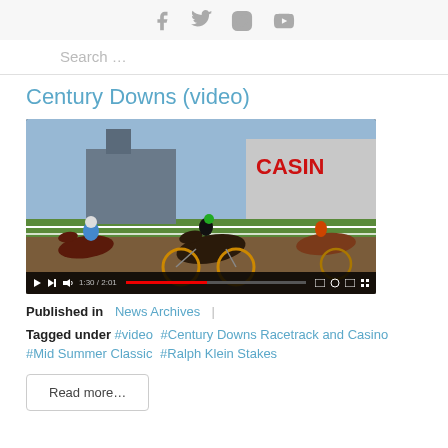Social media icons: Facebook, Twitter, Instagram, YouTube
Search ...
Century Downs (video)
[Figure (screenshot): Video thumbnail showing harness horse racing at Century Downs Racetrack and Casino, with a video player progress bar at the bottom showing 1:30/2:01]
Published in  News Archives
Tagged under  #video  #Century Downs Racetrack and Casino  #Mid Summer Classic  #Ralph Klein Stakes
Read more...